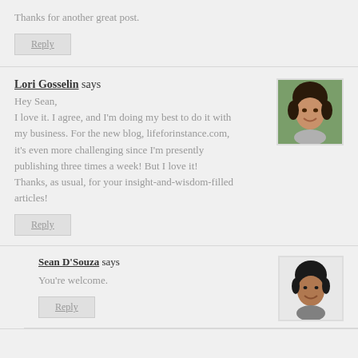Thanks for another great post.
Reply
Lori Gosselin says
Hey Sean,
I love it. I agree, and I'm doing my best to do it with my business. For the new blog, lifeforinstance.com, it's even more challenging since I'm presently publishing three times a week! But I love it!
Thanks, as usual, for your insight-and-wisdom-filled articles!
[Figure (photo): Profile photo of Lori Gosselin - woman with short dark hair smiling]
Reply
Sean D'Souza says
You're welcome.
[Figure (photo): Profile photo of Sean D'Souza - man smiling]
Reply